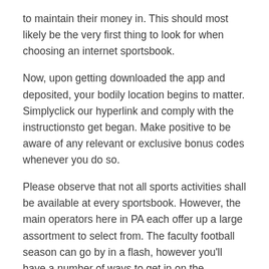to maintain their money in. This should most likely be the very first thing to look for when choosing an internet sportsbook.
Now, upon getting downloaded the app and deposited, your bodily location begins to matter. Simplyclick our hyperlink and comply with the instructionsto get began. Make positive to be aware of any relevant or exclusive bonus codes whenever you do so.
Please observe that not all sports activities shall be available at every sportsbook. However, the main operators here in PA each offer up a large assortment to select from. The faculty football season can go by in a flash, however you'll have a number of ways to get in on the enjoyable before it ends. Have a darkish horse candidate that you simply love for the Heisman Trophy?